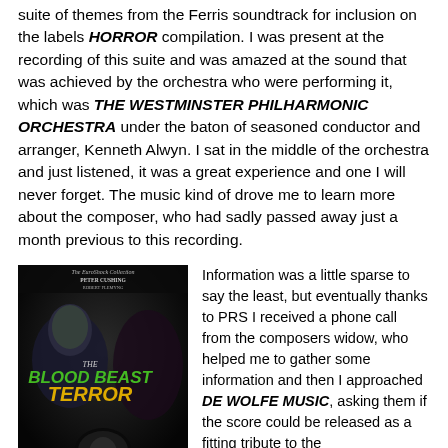suite of themes from the Ferris soundtrack for inclusion on the labels HORROR compilation. I was present at the recording of this suite and was amazed at the sound that was achieved by the orchestra who were performing it, which was THE WESTMINSTER PHILHARMONIC ORCHESTRA under the baton of seasoned conductor and arranger, Kenneth Alwyn. I sat in the middle of the orchestra and just listened, it was a great experience and one I will never forget. The music kind of drove me to learn more about the composer, who had sadly passed away just a month previous to this recording.
[Figure (photo): Book/DVD cover: The EuroShock Collection featuring Peter Cushing and Robert Flemyng in 'The Blood Beast Terror', showing a figure and dark horror imagery]
Information was a little sparse to say the least, but eventually thanks to PRS I received a phone call from the composers widow, who helped me to gather some information and then I approached DE WOLFE MUSIC, asking them if the score could be released as a fitting tribute to the